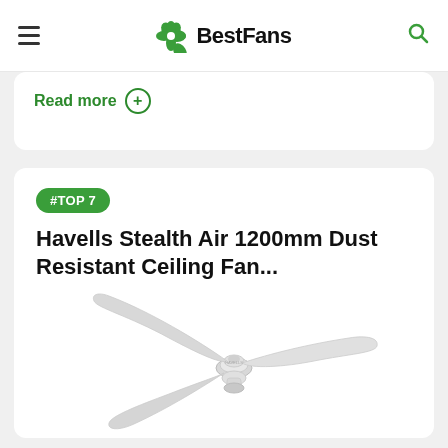BestFans
Read more +
#TOP 7
Havells Stealth Air 1200mm Dust Resistant Ceiling Fan...
[Figure (photo): White Havells Stealth Air 1200mm ceiling fan with 3 blades on white background]